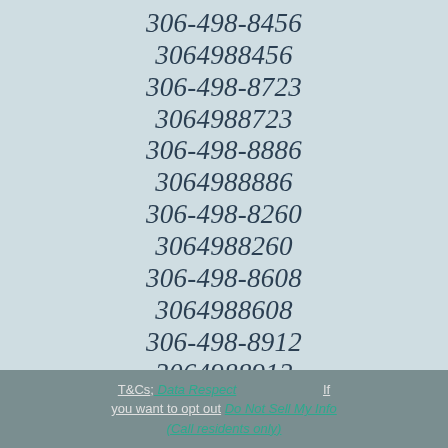306-498-8456
3064988456
306-498-8723
3064988723
306-498-8886
3064988886
306-498-8260
3064988260
306-498-8608
3064988608
306-498-8912
3064988912
T&Cs; Data Respect   If you want to opt out Do Not Sell My Info (Call residents only)